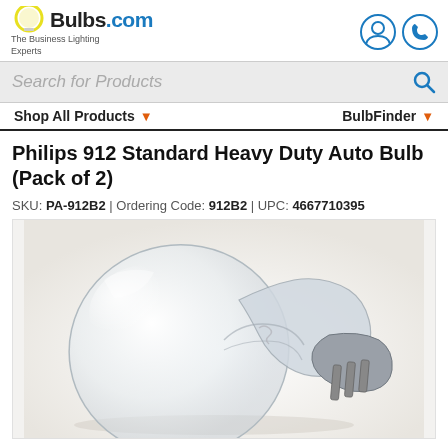Bulbs.com — The Business Lighting Experts
Search for Products
Shop All Products ▼    BulbFinder ▼
Philips 912 Standard Heavy Duty Auto Bulb (Pack of 2)
SKU: PA-912B2 | Ordering Code: 912B2 | UPC: 4667710395
[Figure (photo): Close-up photo of a clear Philips 912 auto bulb with wedge base on a light gray background]